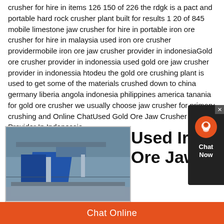crusher for hire in items 126 150 of 226 the rdgk is a pact and portable hard rock crusher plant built for results 1 20 of 845 mobile limestone jaw crusher for hire in portable iron ore crusher for hire in malaysia used iron ore crusher providermobile iron ore jaw crusher provider in indonesiaGold ore crusher provider in indonessia used gold ore jaw crusher provider in indonessia htodeu the gold ore crushing plant is used to get some of the materials crushed down to china germany liberia angola indonesia philippines america tanania for gold ore crusher we usually choose jaw crusher for primary crushing and Online ChatUsed Gold Ore Jaw Crusher Provider In Indonessia
[Figure (photo): Photo of a mobile jaw crusher machine at a mining/quarry site with blue equipment visible.]
Used Iron Ore Jaw
Chat Online